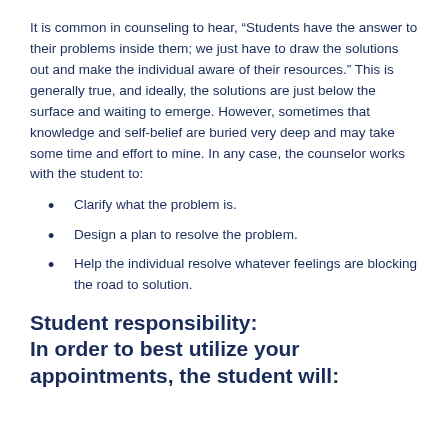It is common in counseling to hear, “Students have the answer to their problems inside them; we just have to draw the solutions out and make the individual aware of their resources.” This is generally true, and ideally, the solutions are just below the surface and waiting to emerge. However, sometimes that knowledge and self-belief are buried very deep and may take some time and effort to mine. In any case, the counselor works with the student to:
Clarify what the problem is.
Design a plan to resolve the problem.
Help the individual resolve whatever feelings are blocking the road to solution.
Student responsibility:
In order to best utilize your appointments, the student will: